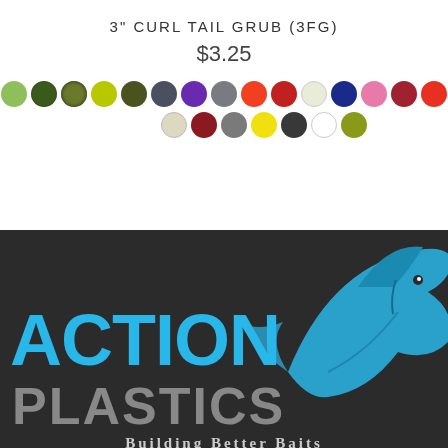3" CURL TAIL GRUB (3FG)
$3.25
[Figure (illustration): Two rows of color swatches showing available colors for the 3" Curl Tail Grub fishing lure. Row 1: black, light green, dark green speckled, olive speckled, chartreuse, dark olive, dark gray, purple, gray speckled, orange-red, red speckled, white/cream, navy blue, pink, dark red speckled, orange-red, orange. Row 2: cream/tan, dark red speckled, gray speckled, yellow, dark speckled, white, olive/yellow-green.]
[Figure (logo): Action Plastics logo on dark background featuring a large fish graphic, blue 'ACTION' text, gray 'PLASTICS' text, and 'Building Better Baits' tagline.]